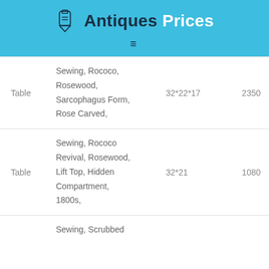Antiques Prices
| Type | Description | Size | Price |
| --- | --- | --- | --- |
| Table | Sewing, Rococo, Rosewood, Sarcophagus Form, Rose Carved, | 32*22*17 | 2350 |
| Table | Sewing, Rococo Revival, Rosewood, Lift Top, Hidden Compartment, 1800s, | 32*21 | 1080 |
| Table | Sewing, Scrubbed |  |  |